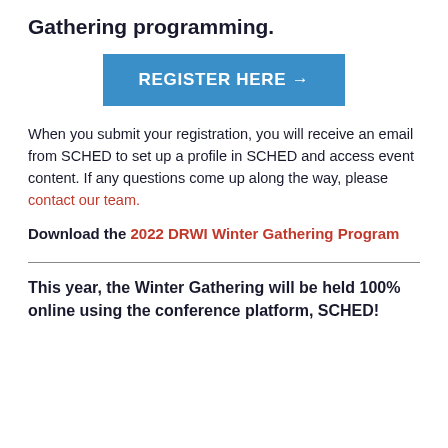Gathering programming.
[Figure (other): Blue button with white text: REGISTER HERE →]
When you submit your registration, you will receive an email from SCHED to set up a profile in SCHED and access event content. If any questions come up along the way, please contact our team.
Download the 2022 DRWI Winter Gathering Program
This year, the Winter Gathering will be held 100% online using the conference platform, SCHED!